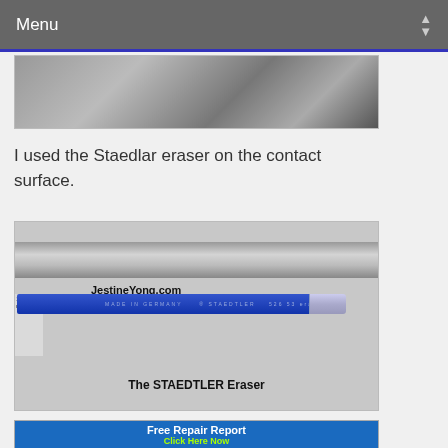Menu
[Figure (photo): Partial image strip at top of page, partially cropped]
I used the Staedlar eraser on the contact surface.
[Figure (photo): Photo of a STAEDTLER eraser pencil on a gray surface with metallic band background. Watermark: JestineYong.com. Caption: The STAEDTLER Eraser]
[Figure (photo): Partial banner at bottom: Free Repair Report - Click Here Now]